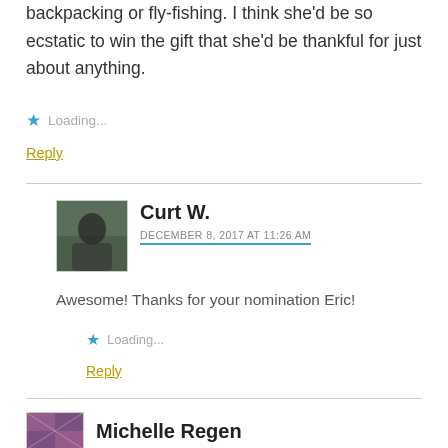backpacking or fly-fishing. I think she'd be so ecstatic to win the gift that she'd be thankful for just about anything.
Loading...
Reply
Curt W.
DECEMBER 8, 2017 AT 11:26 AM
Awesome! Thanks for your nomination Eric!
Loading...
Reply
Michelle Regen